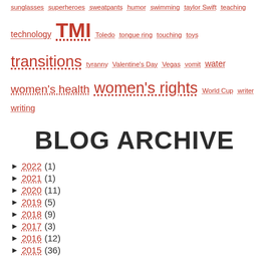sunglasses superheroes sweatpants humor swimming taylor Swift teaching technology TMI Toledo tongue ring touching toys transitions tyranny Valentine's Day Vegas vomit water women's health women's rights World Cup writer writing
BLOG ARCHIVE
2022 (1)
2021 (1)
2020 (11)
2019 (5)
2018 (9)
2017 (3)
2016 (12)
2015 (36)